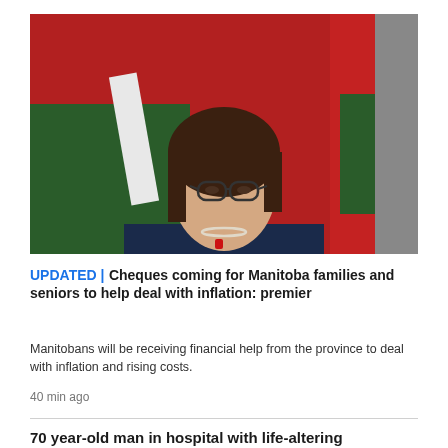[Figure (photo): A woman with short dark hair and glasses wearing a dark blazer and pearl necklace stands in front of Manitoba provincial flags with red and green colours.]
UPDATED | Cheques coming for Manitoba families and seniors to help deal with inflation: premier
Manitobans will be receiving financial help from the province to deal with inflation and rising costs.
40 min ago
70 year-old man in hospital with life-altering